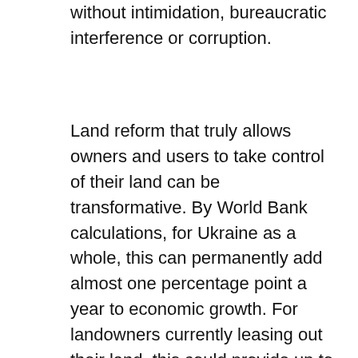without intimidation, bureaucratic interference or corruption.
Land reform that truly allows owners and users to take control of their land can be transformative. By World Bank calculations, for Ukraine as a whole, this can permanently add almost one percentage point a year to economic growth. For landowners currently leasing out their land, this could provide up to US$ 3 billion every year. For rural residents and small farmers, this can create some US$ 24 billion of collateralizable assets that allow them to invest in irrigation, horticulture or non-agricultural small enterprises. And for local communities and local governments, this can provide an income stream